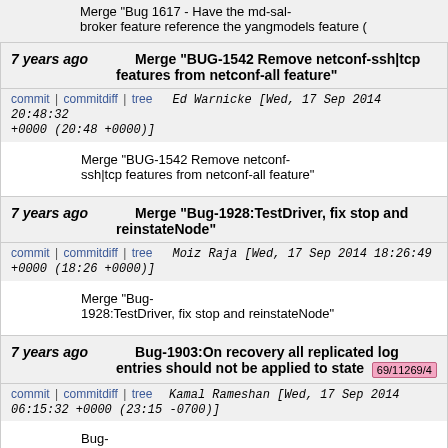Merge "Bug 1617 - Have the md-sal- broker feature reference the yangmodels feature (
7 years ago   Merge "BUG-1542 Remove netconf-ssh|tcp features from netconf-all feature"
commit | commitdiff | tree   Ed Warnicke [Wed, 17 Sep 2014 20:48:32 +0000 (20:48 +0000)]
Merge "BUG-1542 Remove netconf-ssh|tcp features from netconf-all feature"
7 years ago   Merge "Bug-1928:TestDriver, fix stop and reinstateNode"
commit | commitdiff | tree   Moiz Raja [Wed, 17 Sep 2014 18:26:49 +0000 (18:26 +0000)]
Merge "Bug-1928:TestDriver, fix stop and reinstateNode"
7 years ago   Bug-1903:On recovery all replicated log entries should not be applied to state   69/11269/4
commit | commitdiff | tree   Kamal Rameshan [Wed, 17 Sep 2014 06:15:32 +0000 (23:15 -0700)]
Bug-1903:On recovery all replicated log entries should